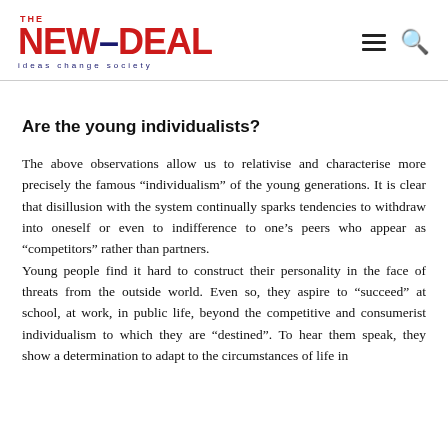THE NEW-DEAL ideas change society
Are the young individualists?
The above observations allow us to relativise and characterise more precisely the famous "individualism" of the young generations. It is clear that disillusion with the system continually sparks tendencies to withdraw into oneself or even to indifference to one’s peers who appear as “competitors” rather than partners.
Young people find it hard to construct their personality in the face of threats from the outside world. Even so, they aspire to “succeed” at school, at work, in public life, beyond the competitive and consumerist individualism to which they are “destined”. To hear them speak, they show a determination to adapt to the circumstances of life in